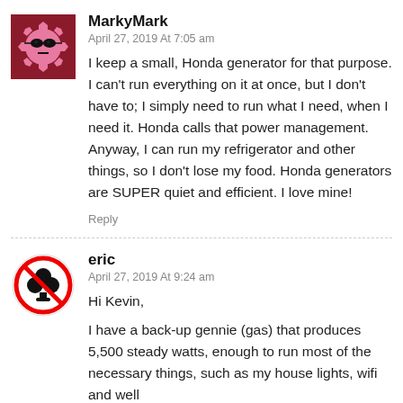[Figure (illustration): Pink gear avatar with sunglasses icon for user MarkyMark]
MarkyMark
April 27, 2019 At 7:05 am
I keep a small, Honda generator for that purpose. I can't run everything on it at once, but I don't have to; I simply need to run what I need, when I need it. Honda calls that power management. Anyway, I can run my refrigerator and other things, so I don't lose my food. Honda generators are SUPER quiet and efficient. I love mine!
Reply
[Figure (illustration): Red circle with slash over black club suit icon for user eric]
eric
April 27, 2019 At 9:24 am
Hi Kevin,
I have a back-up gennie (gas) that produces 5,500 steady watts, enough to run most of the necessary things, such as my house lights, wifi and well